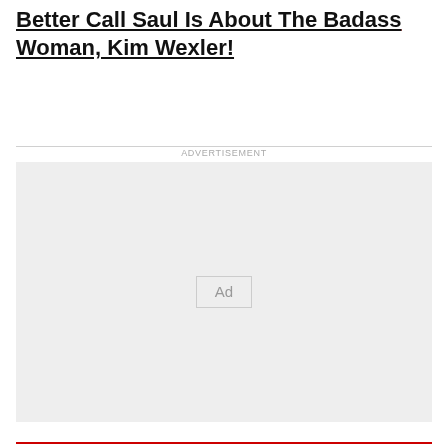Better Call Saul Is About The Badass Woman, Kim Wexler!
ADVERTISEMENT
[Figure (other): Advertisement placeholder box with 'Ad' label in center]